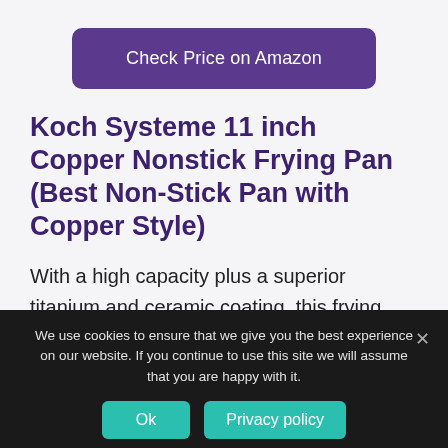Check Price on Amazon
Koch Systeme 11 inch Copper Nonstick Frying Pan (Best Non-Stick Pan with Copper Style)
With a high capacity plus a superior titanium and ceramic coating, this frying pan easily tops in my list of the best PTFE and PFOA free cookware.
We use cookies to ensure that we give you the best experience on our website. If you continue to use this site we will assume that you are happy with it.
Ok
Privacy policy